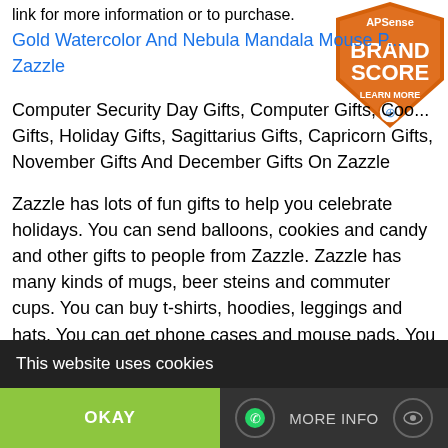link for more information or to purchase.
Gold Watercolor And Nebula Mandala Mouse Pad - Zazzle
[Figure (logo): APSense Brand Score badge - orange shield with text BRAND SCORE and LEARN MORE]
Computer Security Day Gifts, Computer Gifts, Cookie Gifts, Holiday Gifts, Sagittarius Gifts, Capricorn Gifts, November Gifts And December Gifts On Zazzle
Zazzle has lots of fun gifts to help you celebrate holidays. You can send balloons, cookies and candy and other gifts to people from Zazzle. Zazzle has many kinds of mugs, beer steins and commuter cups. You can buy t-shirts, hoodies, leggings and hats. You can get phone cases and mouse pads. You can get watches, clocks and lamps. You can add photos and other images and text to create unique
This website uses cookies
OKAY
MORE INFO